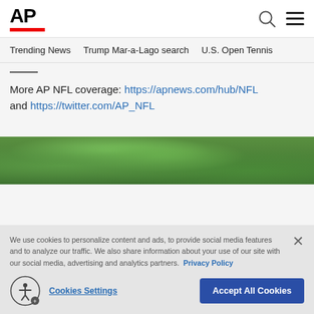AP
Trending News  Trump Mar-a-Lago search  U.S. Open Tennis
More AP NFL coverage: https://apnews.com/hub/NFL and https://twitter.com/AP_NFL
[Figure (photo): Green foliage/trees photo strip]
We use cookies to personalize content and ads, to provide social media features and to analyze our traffic. We also share information about your use of our site with our social media, advertising and analytics partners. Privacy Policy
Cookies Settings  Accept All Cookies